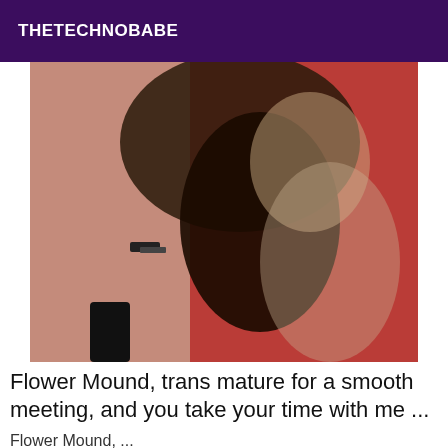THETECHNOBABE
[Figure (photo): A person lying on a red surface wearing black stockings and high heels]
Flower Mound, trans mature for a smooth meeting, and you take your time with me ...
Flower Mound, ...